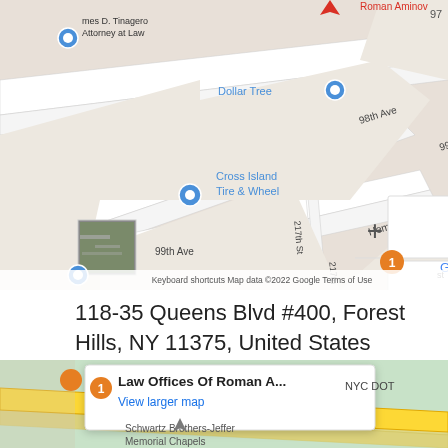[Figure (map): Google Maps screenshot showing street map of Queens area in New York with labeled streets including 98th Ave, 99th Ave, 100th Ave, Hempstead Ave, 217th St, and business markers for James D. Tinagero Attorney at Law, Dollar Tree, Cross Island Tire & Wheel, and Roman Aminov (pin at top). Zoom controls (+/-) visible on right. Satellite thumbnail in lower left. Google branding and 'Keyboard shortcuts  Map data ©2022 Google  Terms of Use' at bottom.]
118-35 Queens Blvd #400, Forest Hills, NY 11375, United States
[Figure (map): Google Maps embedded widget showing a second map view with light green area (park/water), yellow roads, and a popup info window showing 'Law Offices Of Roman A...' with 'View larger map' link in blue. NYC DOT label visible on right. Schwartz Brothers-Jeffer Memorial Chapels label visible at bottom.]